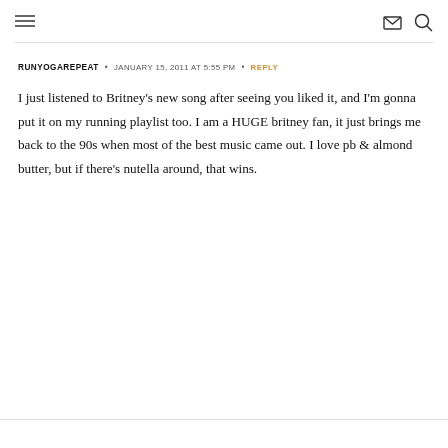Navigation icons: hamburger menu, mail, search
RUNYOGAREPEAT · JANUARY 15, 2011 AT 5:55 PM · REPLY

I just listened to Britney's new song after seeing you liked it, and I'm gonna put it on my running playlist too. I am a HUGE britney fan, it just brings me back to the 90s when most of the best music came out. I love pb & almond butter, but if there's nutella around, that wins.